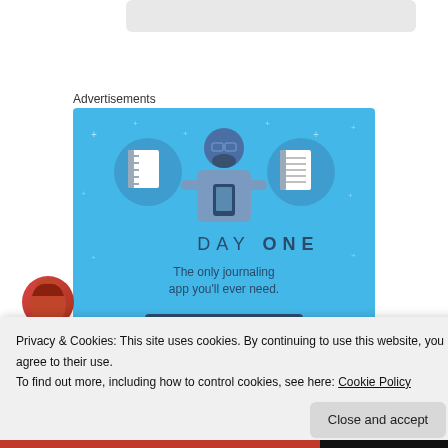[Figure (screenshot): Top portion of a web page showing a gray rounded card at top]
Advertisements
[Figure (illustration): Day One journaling app advertisement banner with blue background, showing three circular icons (blank notebook, person holding phone, lined notebook), text 'DAY ONE - The only journaling app you'll ever need.' and a dark 'Get the app' button]
[Figure (photo): Partial profile photo circle with red/auburn hair at bottom left of page]
Privacy & Cookies: This site uses cookies. By continuing to use this website, you agree to their use.
To find out more, including how to control cookies, see here: Cookie Policy
Close and accept